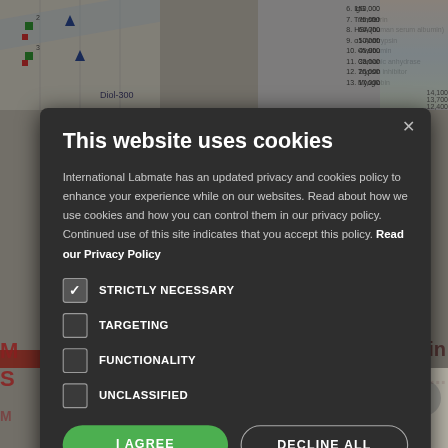[Figure (screenshot): Cookie consent modal dialog overlaid on a laboratory/science website. Dark rounded modal with title 'This website uses cookies', explanatory text about International Labmate's privacy policy, checkboxes for STRICTLY NECESSARY (checked), TARGETING, FUNCTIONALITY, UNCLASSIFIED, and two buttons: 'I AGREE' (green) and 'DECLINE ALL' (outlined). Background shows a chromatography chart and article headlines partially visible.]